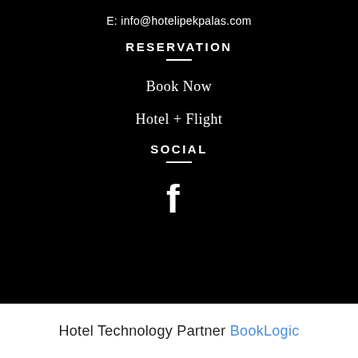E: info@hotelipekpalas.com
RESERVATION
Book Now
Hotel + Flight
SOCIAL
[Figure (logo): Facebook 'f' icon in white on black background]
Hotel Technology Partner BookLogic